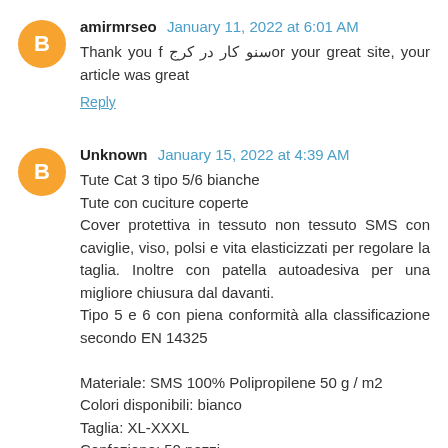amirmrseo  January 11, 2022 at 6:01 AM
Thank you f سنو کار در کرج or your great site, your article was great
Reply
Unknown  January 15, 2022 at 4:39 AM
Tute Cat 3 tipo 5/6 bianche
Tute con cuciture coperte
Cover protettiva in tessuto non tessuto SMS con caviglie, viso, polsi e vita elasticizzati per regolare la taglia. Inoltre con patella autoadesiva per una migliore chiusura dal davanti.
Tipo 5 e 6 con piena conformità alla classificazione secondo EN 14325

Materiale: SMS 100% Polipropilene 50 g / m2
Colori disponibili: bianco
Taglia: XL-XXXL
Confezione: 50 pezzi